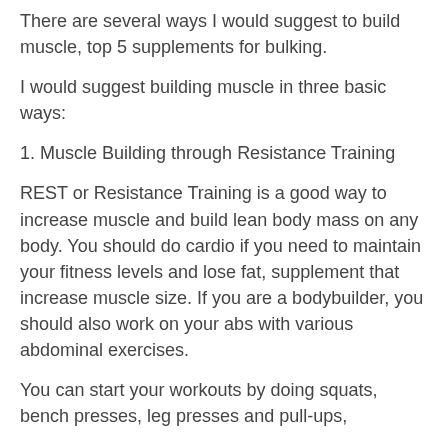There are several ways I would suggest to build muscle, top 5 supplements for bulking.
I would suggest building muscle in three basic ways:
1. Muscle Building through Resistance Training
REST or Resistance Training is a good way to increase muscle and build lean body mass on any body. You should do cardio if you need to maintain your fitness levels and lose fat, supplement that increase muscle size. If you are a bodybuilder, you should also work on your abs with various abdominal exercises.
You can start your workouts by doing squats, bench presses, leg presses and pull-ups,